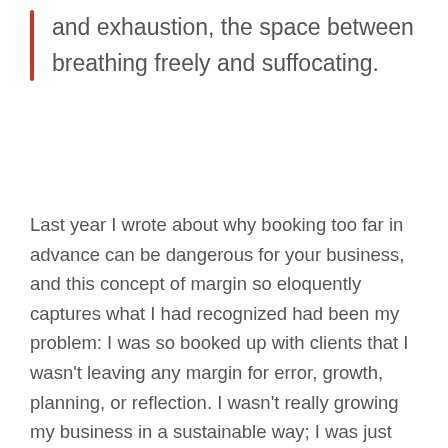and exhaustion, the space between breathing freely and suffocating.
Last year I wrote about why booking too far in advance can be dangerous for your business, and this concept of margin so eloquently captures what I had recognized had been my problem: I was so booked up with clients that I wasn't leaving any margin for error, growth, planning, or reflection. I wasn't really growing my business in a sustainable way; I was just booking one client after the next. At the time this seemed like a good thing: doesn't growing my business mean getting more clients?